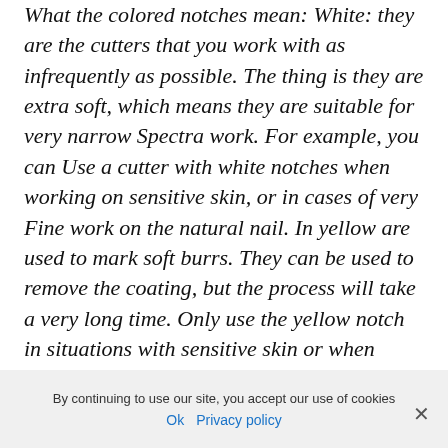What the colored notches mean: White: they are the cutters that you work with as infrequently as possible. The thing is they are extra soft, which means they are suitable for very narrow Spectra work. For example, you can Use a cutter with white notches when working on sensitive skin, or in cases of very Fine work on the natural nail. In yellow are used to mark soft burrs. They can be used to remove the coating, but the process will take a very long time. Only use the yellow notch in situations with sensitive skin or when working with natural nail. Red notch means you can work on the skin and nail plate. It is soft
By continuing to use our site, you accept our use of cookies
Ok  Privacy policy